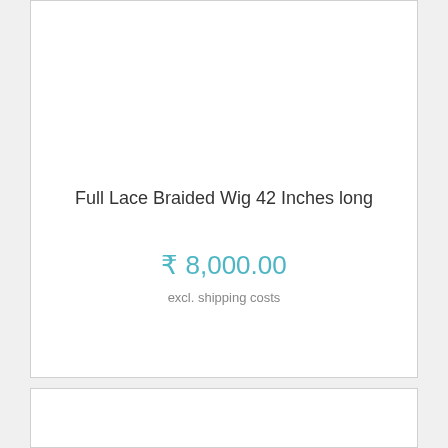Full Lace Braided Wig 42 Inches long
₹ 8,000.00
excl. shipping costs